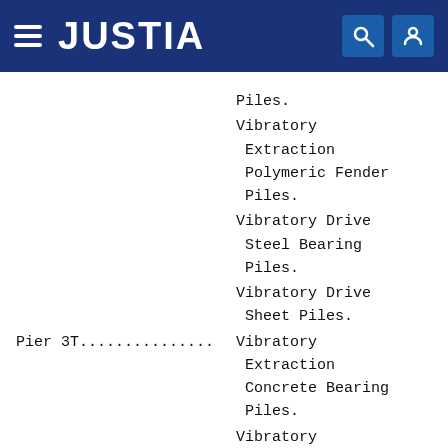JUSTIA
Piles.
Vibratory Extraction Polymeric Fender Piles.
Vibratory Drive Steel Bearing Piles.
Vibratory Drive Sheet Piles.
Pier 3T............... Vibratory Extraction Concrete Bearing Piles.
Vibratory Extraction Timber Fender...